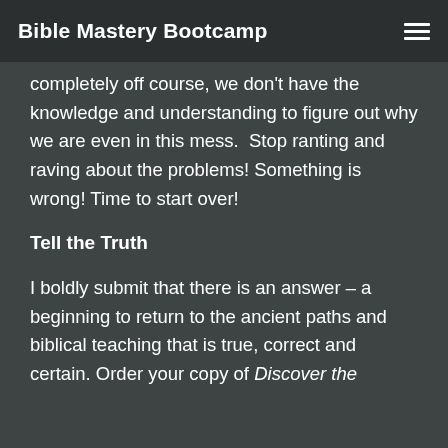Bible Mastery Bootcamp
completely off course, we don't have the knowledge and understanding to figure out why we are even in this mess.  Stop ranting and raving about the problems! Something is wrong! Time to start over!
Tell the Truth
I boldly submit that there is an answer – a beginning to return to the ancient paths and biblical teaching that is true, correct and certain. Order your copy of Discover the